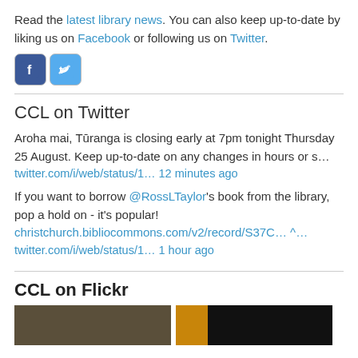Read the latest library news. You can also keep up-to-date by liking us on Facebook or following us on Twitter.
[Figure (logo): Facebook and Twitter social media icons]
CCL on Twitter
Aroha mai, Tūranga is closing early at 7pm tonight Thursday 25 August. Keep up-to-date on any changes in hours or s…
twitter.com/i/web/status/1… 12 minutes ago
If you want to borrow @RossLTaylor's book from the library, pop a hold on - it's popular! christchurch.bibliocommons.com/v2/record/S37C… ^…
twitter.com/i/web/status/1… 1 hour ago
CCL on Flickr
[Figure (photo): Two thumbnail photos from Flickr]